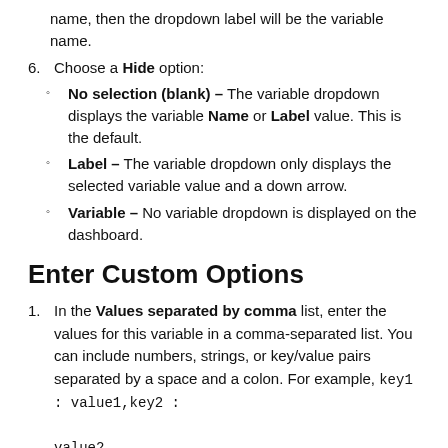name, then the dropdown label will be the variable name.
6. Choose a Hide option:
No selection (blank) - The variable dropdown displays the variable Name or Label value. This is the default.
Label - The variable dropdown only displays the selected variable value and a down arrow.
Variable - No variable dropdown is displayed on the dashboard.
Enter Custom Options
1. In the Values separated by comma list, enter the values for this variable in a comma-separated list. You can include numbers, strings, or key/value pairs separated by a space and a colon. For example, key1 : value1,key2 : value2 .